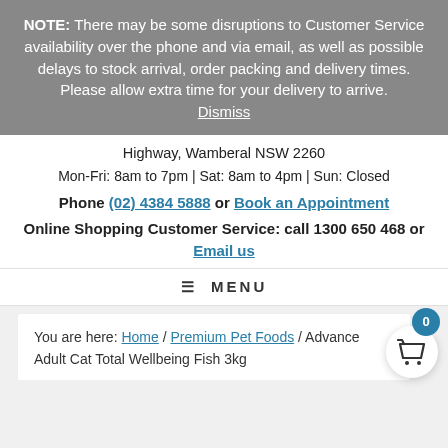NOTE: There may be some disruptions to Customer Service availability over the phone and via email, as well as possible delays to stock arrival, order packing and delivery times. Please allow extra time for your delivery to arrive. Dismiss
Highway, Wamberal NSW 2260
Mon-Fri: 8am to 7pm | Sat: 8am to 4pm | Sun: Closed
Phone (02) 4384 5888 or Book an Appointment
Online Shopping Customer Service: call 1300 650 468 or Email us
MENU
You are here: Home / Premium Pet Foods / Advance Adult Cat Total Wellbeing Fish 3kg